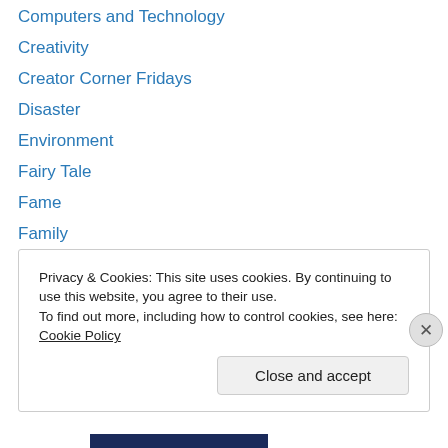Computers and Technology
Creativity
Creator Corner Fridays
Disaster
Environment
Fairy Tale
Fame
Family
Fan Fiction
Fantasy
Five for Friday
Food
friendship
Privacy & Cookies: This site uses cookies. By continuing to use this website, you agree to their use.
To find out more, including how to control cookies, see here: Cookie Policy
Close and accept